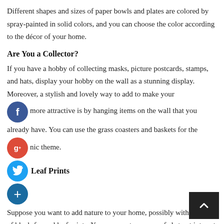Different shapes and sizes of paper bowls and plates are colored by spray-painted in solid colors, and you can choose the color according to the décor of your home.
Are You a Collector?
If you have a hobby of collecting masks, picture postcards, stamps, and hats, display your hobby on the wall as a stunning display. Moreover, a stylish and lovely way to add to make your [f] more attractive is by hanging items on the wall that you already have. You can use the grass coasters and baskets for the [g+] nic theme.
Leaf Prints
Suppose you want to add nature to your home, possibly with a series of black-framed leaf prints. You can create a sense of abstract interest in your place with the composition of non-